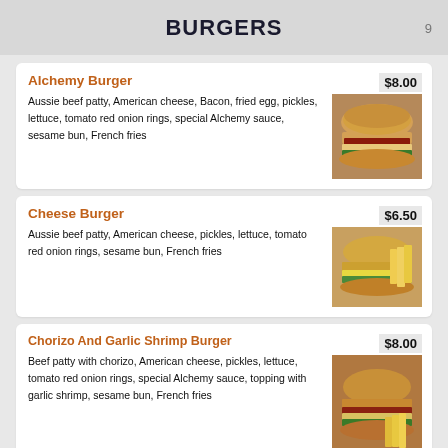BURGERS
Alchemy Burger
Aussie beef patty, American cheese, Bacon, fried egg, pickles, lettuce, tomato red onion rings, special Alchemy sauce, sesame bun, French fries
[Figure (photo): Photo of Alchemy Burger with price tag $8.00]
Cheese Burger
Aussie beef patty, American cheese, pickles, lettuce, tomato red onion rings, sesame bun, French fries
[Figure (photo): Photo of Cheese Burger with price tag $6.50]
Chorizo And Garlic Shrimp Burger
Beef patty with chorizo, American cheese, pickles, lettuce, tomato red onion rings, special Alchemy sauce, topping with garlic shrimp, sesame bun, French fries
[Figure (photo): Photo of Chorizo And Garlic Shrimp Burger with price tag $8.00]
Fried Chicken Burger
Deep-fried chicken with beer tempura
[Figure (photo): Photo of Fried Chicken Burger with price tag $6.00]